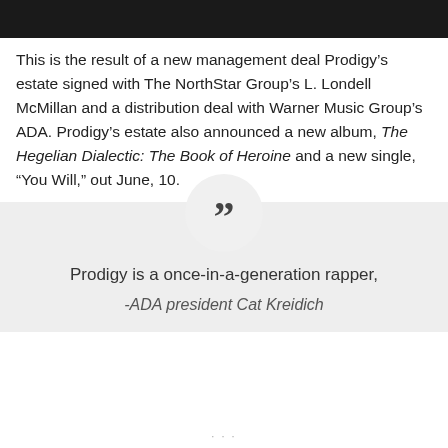[Figure (photo): Black banner bar at top of page]
This is the result of a new management deal Prodigy's estate signed with The NorthStar Group's L. Londell McMillan and a distribution deal with Warner Music Group's ADA. Prodigy's estate also announced a new album, The Hegelian Dialectic: The Book of Heroine and a new single, “You Will,” out June, 10.
Prodigy is a once-in-a-generation rapper, -ADA president Cat Kreidich